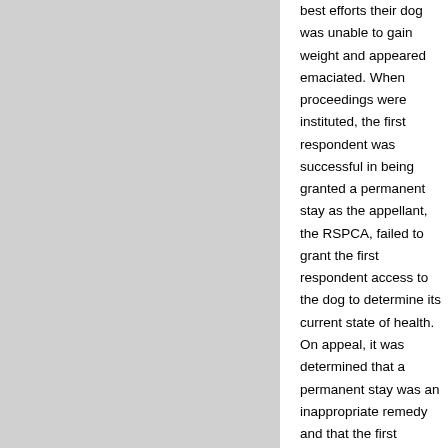best efforts their dog was unable to gain weight and appeared emaciated. When proceedings were instituted, the first respondent was successful in being granted a permanent stay as the appellant, the RSPCA, failed to grant the first respondent access to the dog to determine its current state of health. On appeal, it was determined that a permanent stay was an inappropriate remedy and that the first respondent should be granted a temporary stay